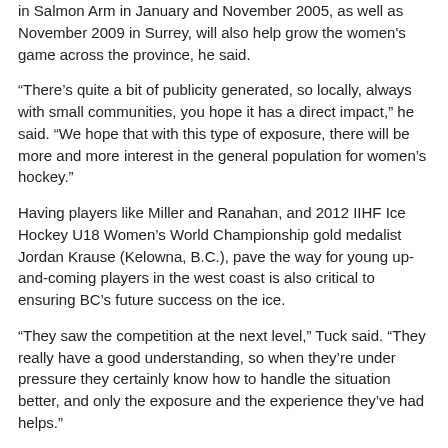in Salmon Arm in January and November 2005, as well as November 2009 in Surrey, will also help grow the women's game across the province, he said.
“There’s quite a bit of publicity generated, so locally, always with small communities, you hope it has a direct impact,” he said. “We hope that with this type of exposure, there will be more and more interest in the general population for women’s hockey.”
Having players like Miller and Ranahan, and 2012 IIHF Ice Hockey U18 Women’s World Championship gold medalist Jordan Krause (Kelowna, B.C.), pave the way for young up-and-coming players in the west coast is also critical to ensuring BC’s future success on the ice.
“They saw the competition at the next level,” Tuck said. “They really have a good understanding, so when they’re under pressure they certainly know how to handle the situation better, and only the exposure and the experience they’ve had helps.”
And of course, there’s also the joy of sharing that special feeling of wearing that jersey on the ice while representing your province – or your country.